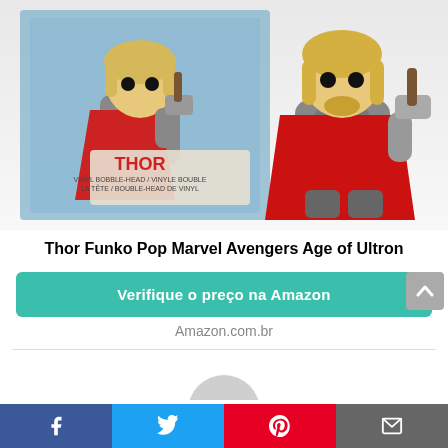[Figure (photo): Thor Funko Pop vinyl figure shown in packaging box (left) and as standalone figure (right), holding Mjolnir hammer, wearing red cape and grey armor]
Thor Funko Pop Marvel Avengers Age of Ultron
Verifique o preço na Amazon
Amazon.com.br
[Figure (other): Partial circle/button element at bottom center]
Facebook | Twitter | Pinterest | Email